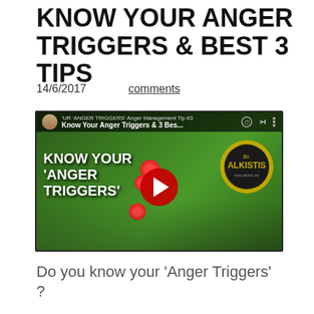KNOW YOUR ANGER TRIGGERS & BEST 3 TIPS
14/6/2017    comments
[Figure (screenshot): YouTube video thumbnail showing a woman seated against a green leafy background with red flowers. Text overlay reads 'KNOW YOUR ANGER TRIGGERS'. Dr. Alkistis logo in top right. Red YouTube play button in center. Video title bar at top reads 'Know Your Anger Triggers & 3 Bes...']
Do you know your 'Anger Triggers' ?